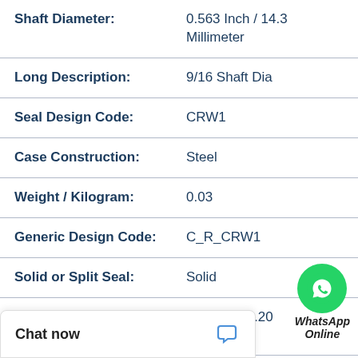| Property | Value |
| --- | --- |
| Shaft Diameter: | 0.563 Inch / 14.3 Millimeter |
| Long Description: | 9/16 Shaft Dia |
| Seal Design Code: | CRW1 |
| Case Construction: | Steel |
| Weight / Kilogram: | 0.03 |
| Generic Design Code: | C_R_CRW1 |
| Solid or Split Seal: | Solid |
| Harmonized Tariff Code: | 4016.93.50.20 |
|  | 5652 |
[Figure (logo): WhatsApp Online bubble icon with green circle and phone handset, labeled WhatsApp Online]
Chat now